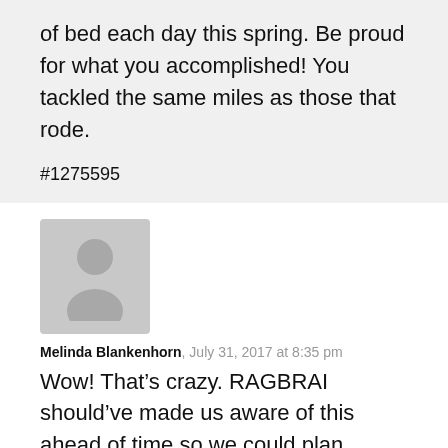of bed each day this spring. Be proud for what you accomplished! You tackled the same miles as those that rode.
#1275595
[Figure (illustration): Generic user avatar placeholder image — grey silhouette of a person on a light grey background]
Melinda Blankenhorn, July 31, 2017 at 8:35 pm
Wow! That’s crazy. RAGBRAI should’ve made us aware of this ahead of time so we could plan ahead.
#1275521